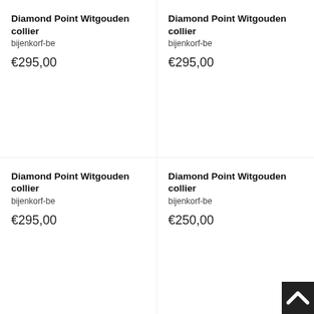Diamond Point Witgouden collier
bijenkorf-be
€295,00
Diamond Point Witgouden collier
bijenkorf-be
€295,00
Diamond Point Witgouden collier
bijenkorf-be
€295,00
Diamond Point Witgouden collier
bijenkorf-be
€250,00